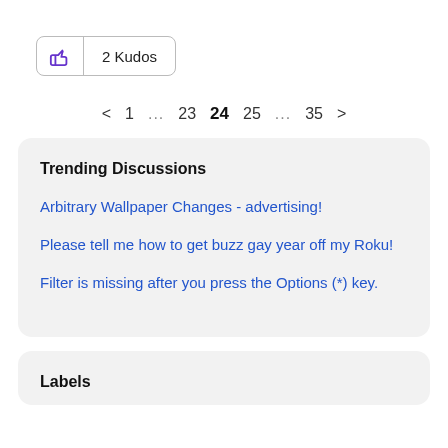[Figure (other): Thumbs up kudos button with count: 2 Kudos]
< 1 … 23 24 25 … 35 >
Trending Discussions
Arbitrary Wallpaper Changes - advertising!
Please tell me how to get buzz gay year off my Roku!
Filter is missing after you press the Options (*) key.
Labels